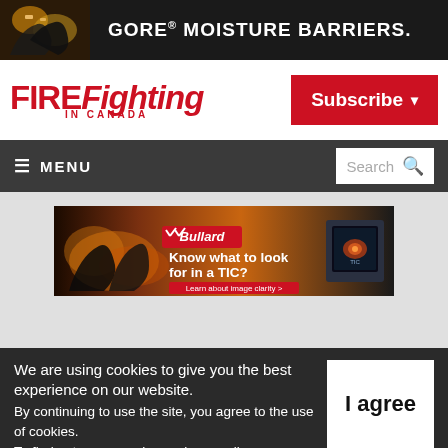[Figure (advertisement): GORE® MOISTURE BARRIERS banner ad with firefighter image on dark background]
[Figure (logo): FIREFighting IN CANADA magazine logo in red]
[Figure (other): Subscribe button with dropdown arrow in red]
≡ MENU
Search
[Figure (advertisement): Bullard TIC advertisement: Know what to look for in a TIC? Learn about image clarity]
We are using cookies to give you the best experience on our website.
By continuing to use the site, you agree to the use of cookies.
To find out more, read our privacy policy.
I agree